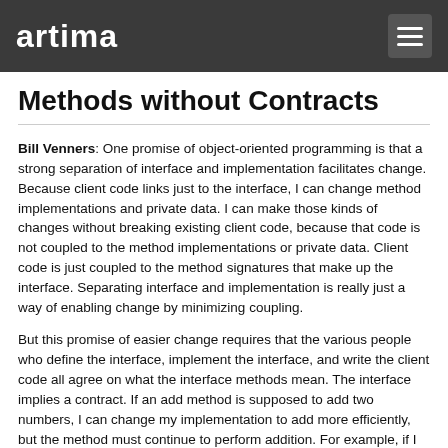artima
Methods without Contracts
Bill Venners: One promise of object-oriented programming is that a strong separation of interface and implementation facilitates change. Because client code links just to the interface, I can change method implementations and private data. I can make those kinds of changes without breaking existing client code, because that code is not coupled to the method implementations or private data. Client code is just coupled to the method signatures that make up the interface. Separating interface and implementation is really just a way of enabling change by minimizing coupling.
But this promise of easier change requires that the various people who define the interface, implement the interface, and write the client code all agree on what the interface methods mean. The interface implies a contract. If an add method is supposed to add two numbers, I can change my implementation to add more efficiently, but the method must continue to perform addition. For example, if I change